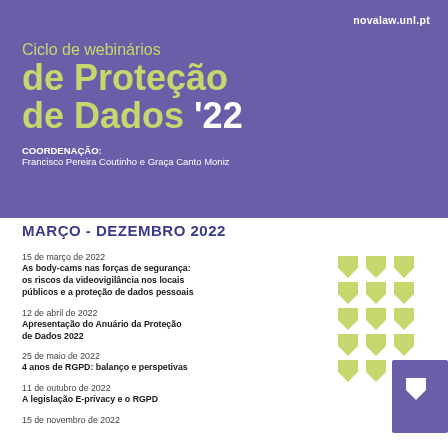novalaw.unl.pt
Ciclo de webinários de Proteção de Dados '22
COORDENAÇÃO: Francisco Pereira Coutinho e Graça Canto Moniz
MARÇO - DEZEMBRO 2022
15 de março de 2022 — As body-cams nas forças de segurança: os riscos da videovigilância nos locais públicos e a proteção de dados pessoais
12 de abril de 2022 — Apresentação do Anuário da Proteção de Dados 2022
25 de maio de 2022 — 4 anos de RGPD: balanço e perspetivas
11 de outubro de 2022 — A legislação E-privacy e o RGPD
15 de novembro de 2022